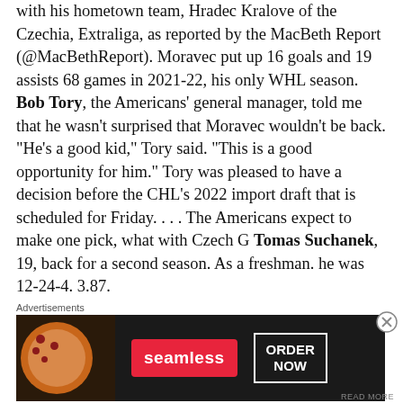with his hometown team, Hradec Kralove of the Czechia, Extraliga, as reported by the MacBeth Report (@MacBethReport). Moravec put up 16 goals and 19 assists 68 games in 2021-22, his only WHL season. Bob Tory, the Americans' general manager, told me that he wasn't surprised that Moravec wouldn't be back. "He's a good kid," Tory said. "This is a good opportunity for him." Tory was pleased to have a decision before the CHL's 2022 import draft that is scheduled for Friday. . . . The Americans expect to make one pick, what with Czech G Tomas Suchanek, 19, back for a second season. As a freshman. he was 12-24-4. 3.87.
Advertisements
[Figure (other): Seamless food delivery advertisement showing pizza slices on a dark background with the Seamless logo button and an ORDER NOW call-to-action button]